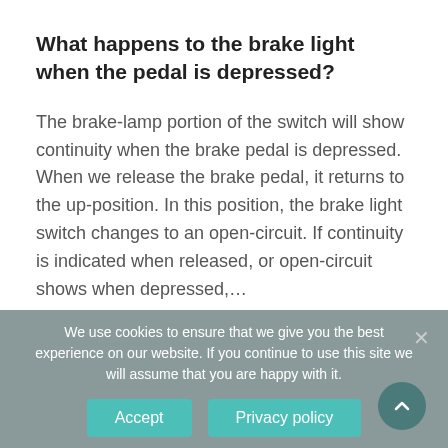What happens to the brake light when the pedal is depressed?
The brake-lamp portion of the switch will show continuity when the brake pedal is depressed. When we release the brake pedal, it returns to the up-position. In this position, the brake light switch changes to an open-circuit. If continuity is indicated when released, or open-circuit shows when depressed,…
We use cookies to ensure that we give you the best experience on our website. If you continue to use this site we will assume that you are happy with it.